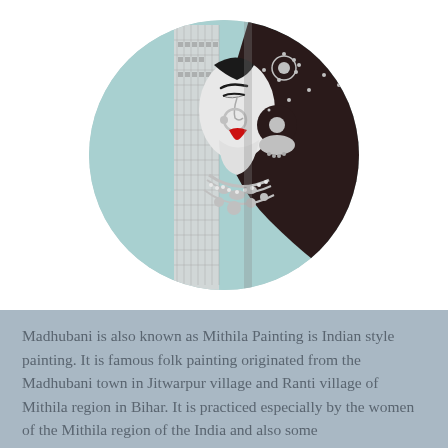[Figure (illustration): A circular framed illustration of a woman in traditional Indian Madhubani/Mithila art style. The woman is shown in profile wearing elaborate silver jewelry including a large nose ring, earrings, and necklace. She has red lips and is wearing a dark dupatta/veil with intricate geometric embroidery patterns on one side. The background inside the circle is a light teal/turquoise color.]
Madhubani is also known as Mithila Painting is Indian style painting. It is famous folk painting originated from the Madhubani town in Jitwarpur village and Ranti village of Mithila region in Bihar. It is practiced especially by the women of the Mithila region of the India and also some